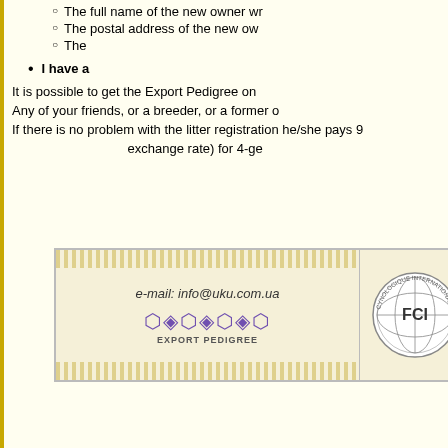The full name of the new owner wr...
The postal address of the new ow...
The ...
I have a...
It is possible to get the Export Pedigree on... Any of your friends, or a breeder, or a former o... If there is no problem with the litter registration he/she pays 9... exchange rate) for 4-ge...
[Figure (other): FCI Export Pedigree banner with e-mail info@uku.com.ua, decorative pattern, FCI globe stamp, and UKU/C logo text]